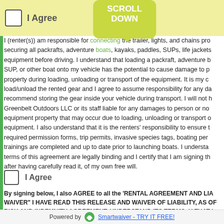I Agree  SCROLL DOWN
I (renter(s)) am responsible for connecting the trailer, lights, and chains pro securing all packrafts, adventure boats, kayaks, paddles, SUPs, life jackets equipment before driving. I understand that loading a packraft, adventure b SUP, or other boat onto my vehicle has the potential to cause damage to p property during loading, unloading or transport of the equipment. It is my c load/unload the rented gear and I agree to assume responsibility for any da recommend storing the gear inside your vehicle during transport. I will not h Greenbelt Outdoors LLC or its staff liable for any damages to person or no equipment property that may occur due to loading, unloading or transport o equipment. I also understand that it is the renters' responsibility to ensure t required permission forms, trip permits, invasive species tags, boating per trainings are completed and up to date prior to launching boats. I understa terms of this agreement are legally binding and I certify that I am signing th after having carefully read it, of my own free will.
I Agree
By signing below, I also AGREE to all the 'RENTAL AGREEMENT AND LIA WAIVER" I HAVE READ THIS RELEASE AND WAIVER OF LIABILITY, AS OF RISK AND INDEMNITY AGREEMENT, UNDERSTAND ITS TERMS, U THAT I HAVE GIVEN UP SUBSTANTIAL RIGHTS BY SIGNING IT, AND H IT FREELY AND VOLUNTARILY WITHOUT ANY INDUCEMENT, ASSURA GUARANTEE BEING MADE TO ME AND INTEND MY SIGNATURE TO B COMPLETE AND UNCONDITIONAL RELEASE OF ALL LIABILITY TO TH
Powered by Smartwaiver - TRY IT FREE!